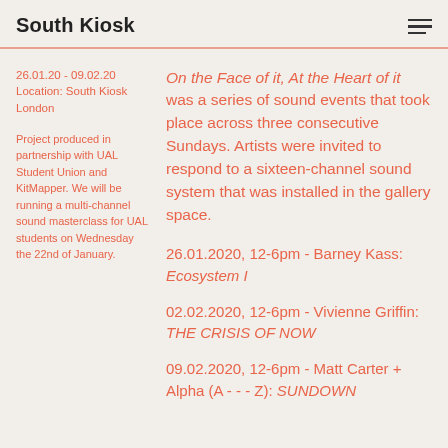South Kiosk
26.01.20 - 09.02.20
Location: South Kiosk London
Project produced in partnership with UAL Student Union and KitMapper. We will be running a multi-channel sound masterclass for UAL students on Wednesday the 22nd of January.
On the Face of it, At the Heart of it was a series of sound events that took place across three consecutive Sundays. Artists were invited to respond to a sixteen-channel sound system that was installed in the gallery space.
26.01.2020, 12-6pm - Barney Kass: Ecosystem I
02.02.2020, 12-6pm - Vivienne Griffin: THE CRISIS OF NOW
09.02.2020, 12-6pm - Matt Carter + Alpha (A - - - Z): SUNDOWN